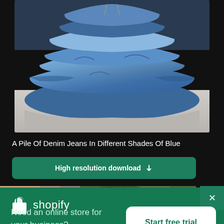[Figure (photo): Close-up photo of a pile of denim jeans in different shades of blue, folded and stacked]
A Pile Of Denim Jeans In Different Shades Of Blue
High resolution download ↓
[Figure (photo): Partial view of a second image showing a street scene with plants]
[Figure (logo): Shopify logo — shopping bag icon and the word shopify in white]
Need an online store for your business?
Start free trial